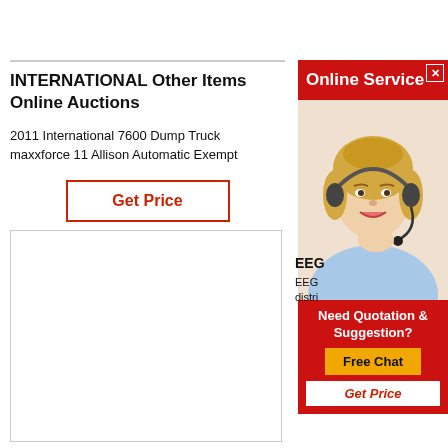INTERNATIONAL Other Items Online Auctions
2011 International 7600 Dump Truck
maxxforce 11 Allison Automatic Exempt
Get Price
[Figure (photo): Empty image placeholder box]
[Figure (infographic): Online Service advertisement panel with a woman wearing a headset. Contains 'Online Service' header, 'Need Quotation & Suggestion?' text, 'Free Chat' button, and 'Get Price' button.]
EEC
EEG distri